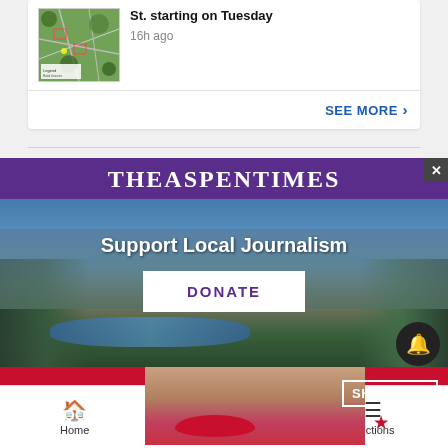[Figure (screenshot): Thumbnail aerial/satellite map image showing roads and vegetation]
St. starting on Tuesday
16h ago
SEE MORE ›
[Figure (infographic): The Aspen Times advertisement banner with purple header, mountain/forest landscape background, Support Local Journalism text, and DONATE button]
[Figure (infographic): Macy's advertisement: KISS BORING LIPS GOODBYE with SHOP NOW button and Macy's star logo, woman's face with red lips]
Home   Trending   Sections